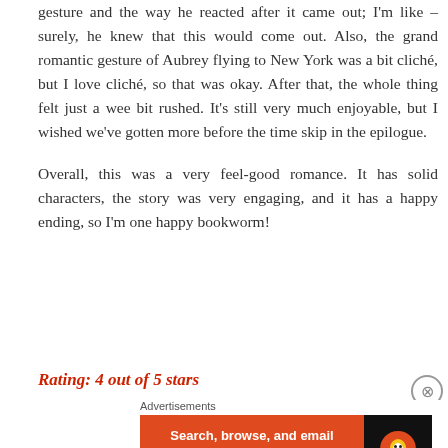gesture and the way he reacted after it came out; I'm like – surely, he knew that this would come out. Also, the grand romantic gesture of Aubrey flying to New York was a bit cliché, but I love cliché, so that was okay. After that, the whole thing felt just a wee bit rushed. It's still very much enjoyable, but I wished we've gotten more before the time skip in the epilogue.
Overall, this was a very feel-good romance. It has solid characters, the story was very engaging, and it has a happy ending, so I'm one happy bookworm!
Rating: 4 out of 5 stars
[Figure (other): DuckDuckGo advertisement banner: orange background with text 'Search, browse, and email with more privacy. All in One Free App' and DuckDuckGo logo on dark background]